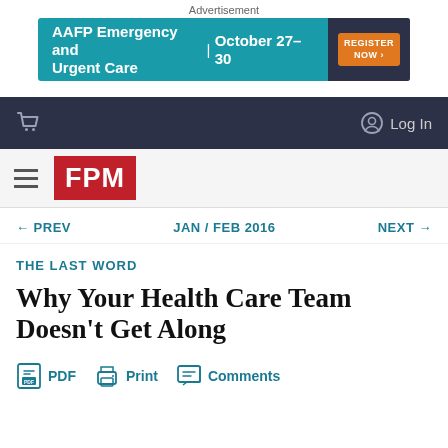Advertisement
[Figure (other): AAFP Emergency and Urgent Care | October 27-30 advertisement banner with Register Now button]
Navigation bar with cart icon and Log In
[Figure (logo): FPM journal logo in red square with hamburger menu]
← PREV   JAN / FEB 2016   NEXT →
THE LAST WORD
Why Your Health Care Team Doesn't Get Along
PDF   Print   Comments